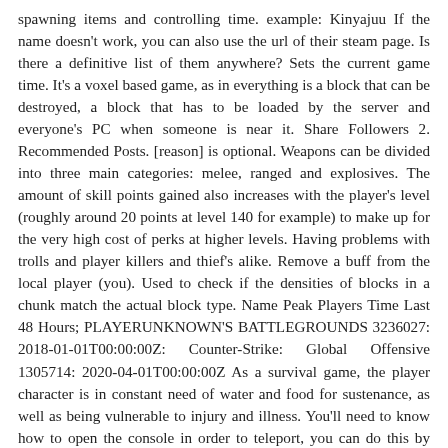spawning items and controlling time. example: Kinyajuu If the name doesn't work, you can also use the url of their steam page. Is there a definitive list of them anywhere? Sets the current game time. It's a voxel based game, as in everything is a block that can be destroyed, a block that has to be loaded by the server and everyone's PC when someone is near it. Share Followers 2. Recommended Posts. [reason] is optional. Weapons can be divided into three main categories: melee, ranged and explosives. The amount of skill points gained also increases with the player's level (roughly around 20 points at level 140 for example) to make up for the very high cost of perks at higher levels. Having problems with trolls and player killers and thief's alike. Remove a buff from the local player (you). Used to check if the densities of blocks in a chunk match the actual block type. Name Peak Players Time Last 48 Hours; PLAYERUNKNOWN'S BATTLEGROUNDS 3236027: 2018-01-01T00:00:00Z: Counter-Strike: Global Offensive 1305714: 2020-04-01T00:00:00Z As a survival game, the player character is in constant need of water and food for sustenance, as well as being vulnerable to injury and illness. You'll need to know how to open the console in order to teleport, you can do this by pressing one of the following keys: There are many ways to use the teleport and teleportplayer command in 7DTD, but you may not want (or need) to know each and every one of them. Thats if you only die in 1 single game. Uploaded: 26 Aug 2016. Players cobble together everything they need to live from resources found about